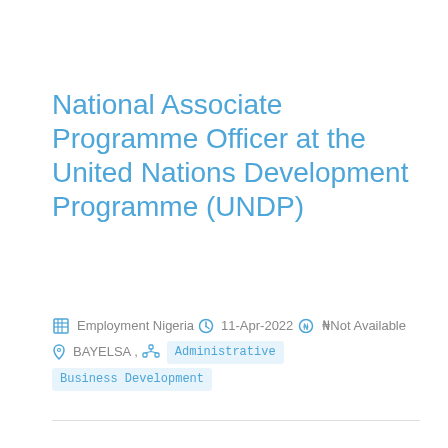National Associate Programme Officer at the United Nations Development Programme (UNDP)
Employment Nigeria  11-Apr-2022  ₦Not Available  BAYELSA,  Administrative Business Development
The United Nations Development Programme (UNDP) is the United Nations' global development network. It advocates for change and connects countries to knowledge, experience and resources to help people build